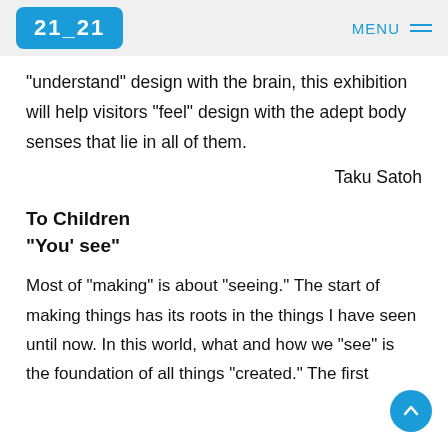21_21  MENU
"understand" design with the brain, this exhibition will help visitors "feel" design with the adept body senses that lie in all of them.
Taku Satoh
To Children
"You' see"
Most of "making" is about "seeing." The start of making things has its roots in the things I have seen until now. In this world, what and how we "see" is the foundation of all things "created." The first